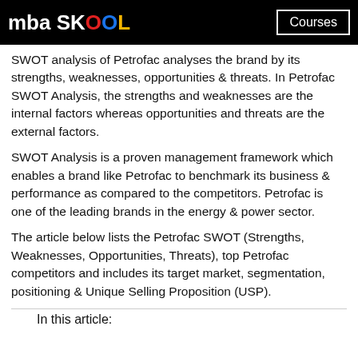mba SKOOL | Courses
SWOT analysis of Petrofac analyses the brand by its strengths, weaknesses, opportunities & threats. In Petrofac SWOT Analysis, the strengths and weaknesses are the internal factors whereas opportunities and threats are the external factors.
SWOT Analysis is a proven management framework which enables a brand like Petrofac to benchmark its business & performance as compared to the competitors. Petrofac is one of the leading brands in the energy & power sector.
The article below lists the Petrofac SWOT (Strengths, Weaknesses, Opportunities, Threats), top Petrofac competitors and includes its target market, segmentation, positioning & Unique Selling Proposition (USP).
In this article: